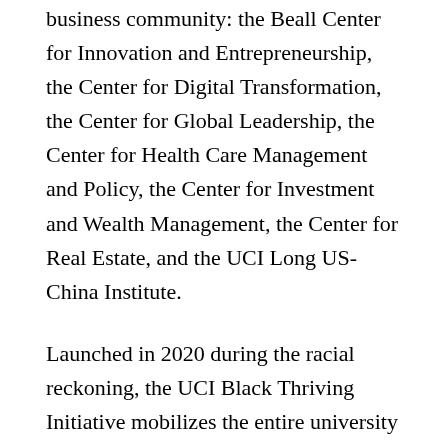business community: the Beall Center for Innovation and Entrepreneurship, the Center for Digital Transformation, the Center for Global Leadership, the Center for Health Care Management and Policy, the Center for Investment and Wealth Management, the Center for Real Estate, and the UCI Long US-China Institute.
Launched in 2020 during the racial reckoning, the UCI Black Thriving Initiative mobilizes the entire university to transform UCI into the nation's foremost destination for Black people to thrive as students, faculty, staff, and communities served by the university. To this end, it consists of three action platforms that seek to inform choices, decisions, and priorities as a great public